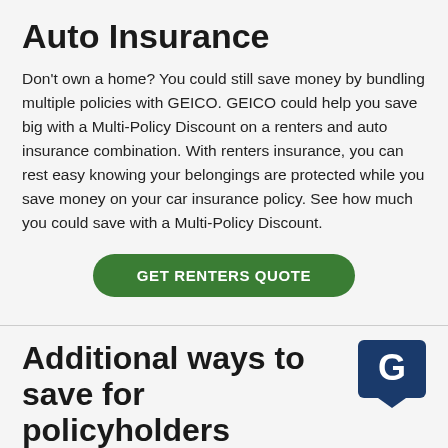Auto Insurance
Don't own a home? You could still save money by bundling multiple policies with GEICO. GEICO could help you save big with a Multi-Policy Discount on a renters and auto insurance combination. With renters insurance, you can rest easy knowing your belongings are protected while you save money on your car insurance policy. See how much you could save with a Multi-Policy Discount.
GET RENTERS QUOTE
Additional ways to save for policyholders
[Figure (logo): GEICO logo: blue speech bubble with white G]
Multi-Vehicle Insurance Policy Discount: